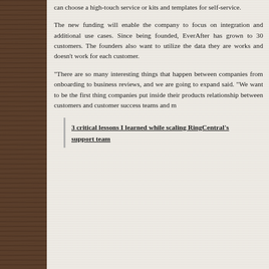can choose a high-touch service or kits and templates for self-service.
The new funding will enable the company to focus on integration and additional use cases. Since being founded, EverAfter has grown to 30 customers. The founders also want to utilize the data they are works and doesn't work for each customer.
“There are so many interesting things that happen between companies from onboarding to business reviews, and we are going to expand said. “We want to be the first thing companies put inside their products relationship between customers and customer success teams and m
3 critical lessons I learned while scaling RingCentral's support team